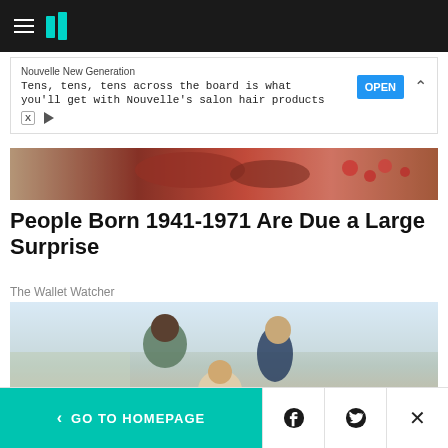HuffPost navigation header with hamburger menu and logo
Nouvelle New Generation
Tens, tens, tens across the board is what you'll get with Nouvelle's salon hair products
OPEN
[Figure (photo): Food image strip showing meat and berries on a wooden surface]
People Born 1941-1971 Are Due a Large Surprise
The Wallet Watcher
[Figure (photo): Family photo of a man, woman, and child looking at a laptop together at a kitchen table]
< GO TO HOMEPAGE  [Facebook] [Twitter] [X]